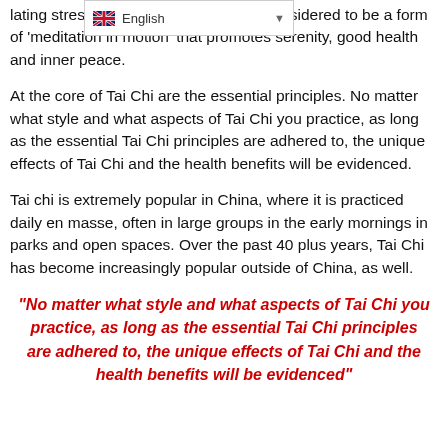[Figure (other): Language selector widget showing UK flag and 'English' label with dropdown arrow]
lating stress and anxiety. It has been considered to be a form of ‘meditation in motion’ that promotes serenity, good health and inner peace.
At the core of Tai Chi are the essential principles. No matter what style and what aspects of Tai Chi you practice, as long as the essential Tai Chi principles are adhered to, the unique effects of Tai Chi and the health benefits will be evidenced.
Tai chi is extremely popular in China, where it is practiced daily en masse, often in large groups in the early mornings in parks and open spaces. Over the past 40 plus years, Tai Chi has become increasingly popular outside of China, as well.
“No matter what style and what aspects of Tai Chi you practice, as long as the essential Tai Chi principles are adhered to, the unique effects of Tai Chi and the health benefits will be evidenced”